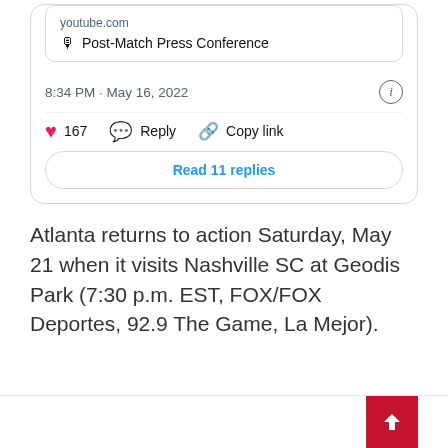[Figure (screenshot): A Twitter/X tweet card showing a YouTube link preview for 'Post-Match Press Conference', a timestamp of 8:34 PM · May 16, 2022, action buttons showing 167 likes, Reply, Copy link, and a 'Read 11 replies' button.]
Atlanta returns to action Saturday, May 21 when it visits Nashville SC at Geodis Park (7:30 p.m. EST, FOX/FOX Deportes, 92.9 The Game, La Mejor).